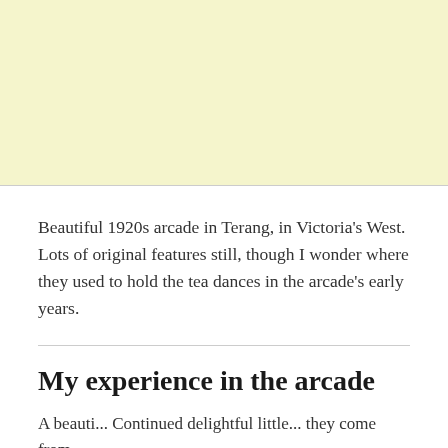[Figure (photo): Yellow/cream colored image placeholder block at the top of the page]
Beautiful 1920s arcade in Terang, in Victoria's West. Lots of original features still, though I wonder where they used to hold the tea dances in the arcade's early years.
My experience in the arcade
A beauti... Continueddelightful...they come from